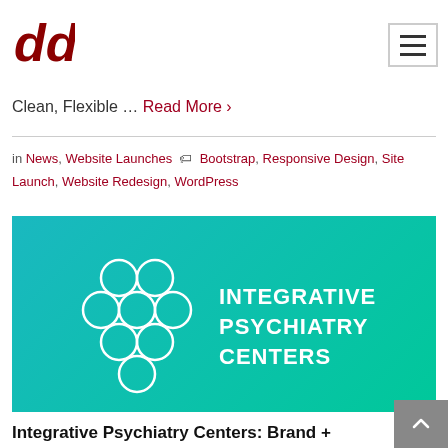DDG logo and navigation hamburger menu
you recently redesigning and relaunching a new website for Lakeview Estates Reclamation, a Colorado company specializing in civil construction and land restoration. Clean, Flexible ... Read More ›
in News, Website Launches  Bootstrap, Responsive Design, Site Launch, Website Redesign, WordPress
[Figure (logo): Integrative Psychiatry Centers logo on teal/turquoise gradient background. White geometric circular pattern logo on the left, white bold text 'INTEGRATIVE PSYCHIATRY CENTERS' on the right.]
Integrative Psychiatry Centers: Brand +